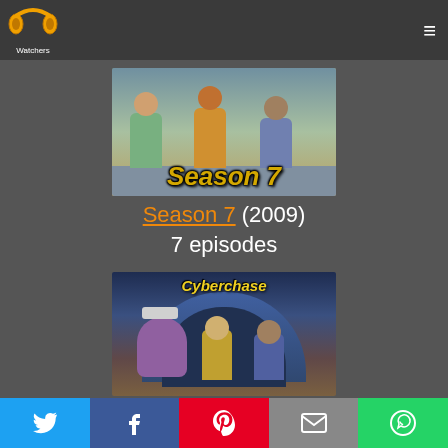[Figure (logo): PP Watchers logo in top-left header]
[Figure (illustration): Season 7 animated show cover image with three cartoon characters and 'Season 7' text in yellow/gold stylized lettering]
Season 7 (2009)
7 episodes
[Figure (illustration): Cyberchase animated show cover image with the Cyberchase logo and cartoon characters including a bird and children]
[Figure (infographic): Social media share bar at bottom: Twitter (blue), Facebook (dark blue), Pinterest (red), Email (grey), WhatsApp (green)]